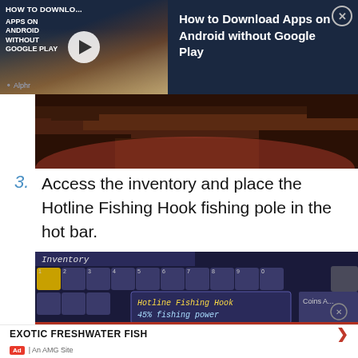[Figure (screenshot): Video ad banner: 'How to Download Apps on Android without Google Play' with video thumbnail on left showing a play button, and text on right on dark blue background. Close button top right.]
[Figure (screenshot): Terraria game screenshot showing underground cave with red lava/crimson background and dark rocky terrain.]
Access the inventory and place the Hotline Fishing Hook fishing pole in the hot bar.
[Figure (screenshot): Terraria inventory screen showing hotbar slots with items including fishing poles, and tooltip: 'Hotline Fishing Hook 45% fishing power'. Coins label visible on right.]
EXOTIC FRESHWATER FISH
Ad | An AMG Site